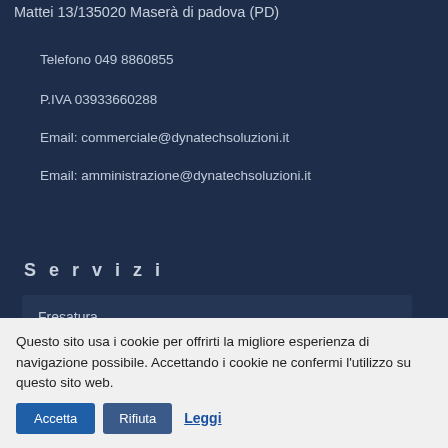Mattei 13/135020 Maserà di padova (PD)
Telefono 049 8860855
P.IVA 03933660288
Email: commerciale@dynatechsoluzioni.it
Email: amministrazione@dynatechsoluzioni.it
Servizi
Fresatura
Maschiatura
Tornitura
Questo sito usa i cookie per offrirti la migliore esperienza di navigazione possibile. Accettando i cookie ne confermi l'utilizzo su questo sito web. Accetta Rifiuta Leggi